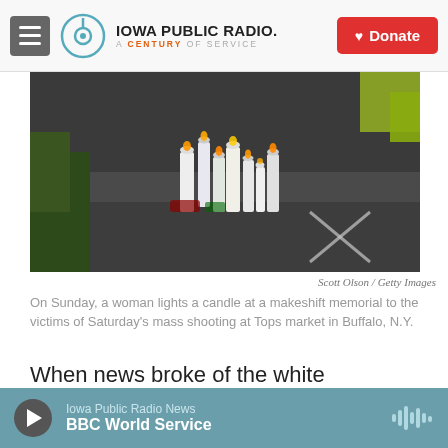IOWA PUBLIC RADIO. A CENTURY OF SERVICE | Donate
[Figure (photo): Candles at a makeshift memorial on a sidewalk, with chalk markings visible, following the mass shooting at Tops market in Buffalo, N.Y.]
Scott Olson / Getty Images
On Sunday, a woman lights a candle at a makeshift memorial to the victims of Saturday's mass shooting at Tops market in Buffalo, N.Y.
When news broke of the white supremacist 18-year-old suspect behind the mass shooting in Buffalo, N.Y., Saturday in which 10 people died and three others were injured, certain news organizations and commentators have variously
Iowa Public Radio News | BBC World Service